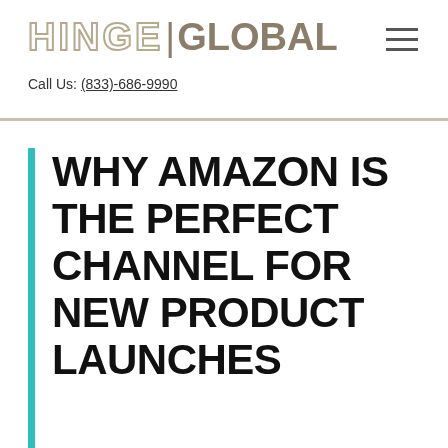HINGE | GLOBAL
Call Us: (833)-686-9990
WHY AMAZON IS THE PERFECT CHANNEL FOR NEW PRODUCT LAUNCHES
Amazon provides companies with an ideal new product launch channel, requiring a fraction of the cost of a traditional launch.